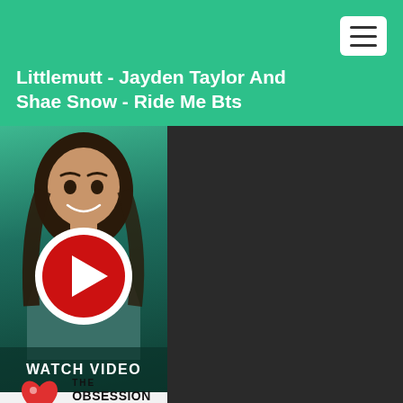Littlemutt - Jayden Taylor And Shae Snow - Ride Me Bts
[Figure (screenshot): Video thumbnail showing a woman smiling with long dark hair, wearing a teal top, with a red play button circle overlay and 'WATCH VIDEO' text below. The Obsession Method logo appears at the bottom left.]